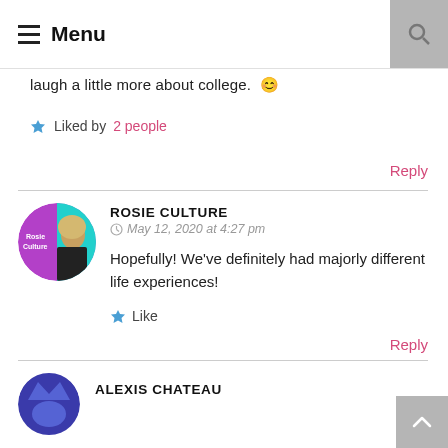≡ Menu
laugh a little more about college. 😊
★ Liked by 2 people
Reply
ROSIE CULTURE
May 12, 2020 at 4:27 pm
Hopefully! We've definitely had majorly different life experiences!
★ Like
Reply
ALEXIS CHATEAU